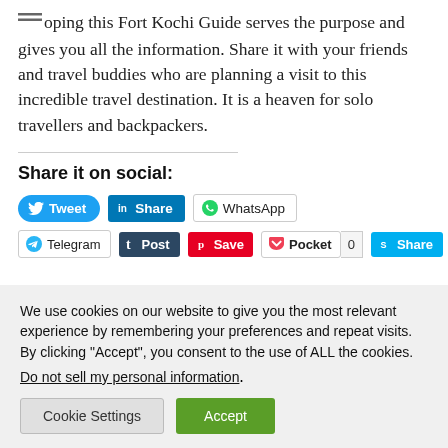Hoping this Fort Kochi Guide serves the purpose and gives you all the information. Share it with your friends and travel buddies who are planning a visit to this incredible travel destination. It is a heaven for solo travellers and backpackers.
Share it on social:
[Figure (screenshot): Social share buttons row 1: Tweet (Twitter), Share (LinkedIn), WhatsApp]
[Figure (screenshot): Social share buttons row 2: Telegram, Post (Tumblr), Save (Pinterest), Pocket with count 0, Share (Skype)]
We use cookies on our website to give you the most relevant experience by remembering your preferences and repeat visits. By clicking “Accept”, you consent to the use of ALL the cookies.
Do not sell my personal information.
Cookie Settings | Accept